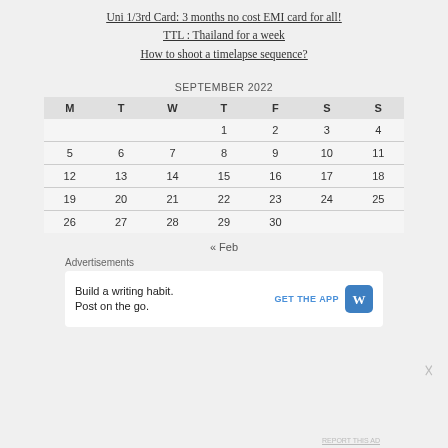Uni 1/3rd Card: 3 months no cost EMI card for all!
TTL : Thailand for a week
How to shoot a timelapse sequence?
| M | T | W | T | F | S | S |
| --- | --- | --- | --- | --- | --- | --- |
|  |  |  | 1 | 2 | 3 | 4 |
| 5 | 6 | 7 | 8 | 9 | 10 | 11 |
| 12 | 13 | 14 | 15 | 16 | 17 | 18 |
| 19 | 20 | 21 | 22 | 23 | 24 | 25 |
| 26 | 27 | 28 | 29 | 30 |  |  |
« Feb
Advertisements
Build a writing habit.
Post on the go.
GET THE APP